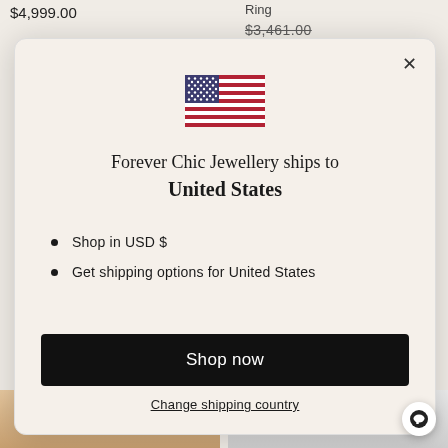$4,999.00
Ring
$3,461.00
[Figure (illustration): US flag SVG illustration inside modal dialog]
Forever Chic Jewellery ships to United States
Shop in USD $
Get shipping options for United States
Shop now
Change shipping country